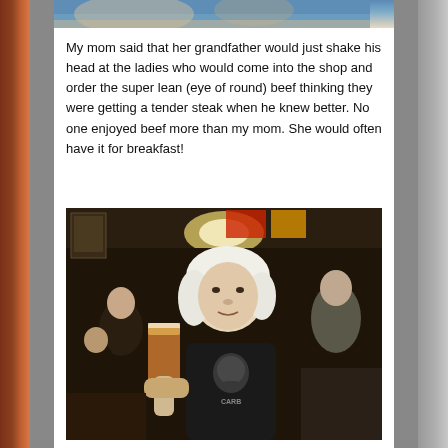[Figure (photo): Partial photo visible at top of page showing people, cropped]
My mom said that her grandfather would just shake his head at the ladies who would come into the shop and order the super lean (eye of round) beef thinking they were getting a tender steak when he knew better. No one enjoyed beef more than my mom. She would often have it for breakfast!
[Figure (photo): Man with long white/grey hair sitting at a bar or restaurant, holding up a pint glass of amber beer, wearing a dark skull graphic t-shirt. Crowded bar interior with various decorations in the background. A wine glass is visible on the table to his right.]